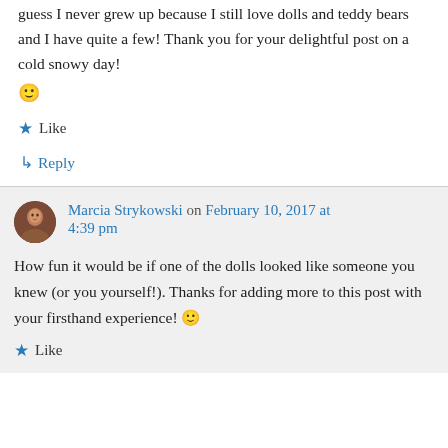guess I never grew up because I still love dolls and teddy bears and I have quite a few! Thank you for your delightful post on a cold snowy day! 🙂
★ Like
↳ Reply
Marcia Strykowski on February 10, 2017 at 4:39 pm
How fun it would be if one of the dolls looked like someone you knew (or you yourself!). Thanks for adding more to this post with your firsthand experience! 🙂
★ Like